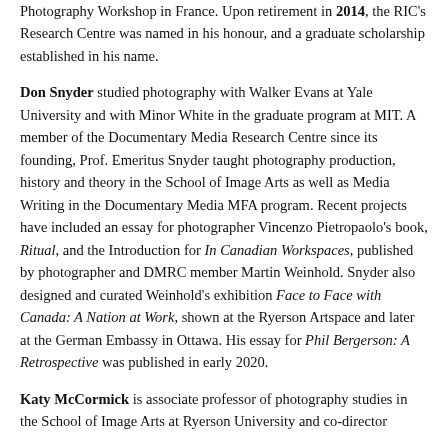Photography Workshop in France. Upon retirement in 2014, the RIC's Research Centre was named in his honour, and a graduate scholarship established in his name.
Don Snyder studied photography with Walker Evans at Yale University and with Minor White in the graduate program at MIT. A member of the Documentary Media Research Centre since its founding, Prof. Emeritus Snyder taught photography production, history and theory in the School of Image Arts as well as Media Writing in the Documentary Media MFA program. Recent projects have included an essay for photographer Vincenzo Pietropaolo's book, Ritual, and the Introduction for In Canadian Workspaces, published by photographer and DMRC member Martin Weinhold. Snyder also designed and curated Weinhold's exhibition Face to Face with Canada: A Nation at Work, shown at the Ryerson Artspace and later at the German Embassy in Ottawa. His essay for Phil Bergerson: A Retrospective was published in early 2020.
Katy McCormick is associate professor of photography studies in the School of Image Arts at Ryerson University and co-director